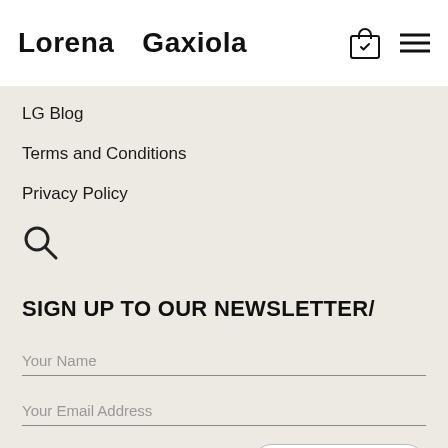Lorena   Gaxiola
LG Blog
Terms and Conditions
Privacy Policy
[Figure (other): Search magnifying glass icon]
SIGN UP TO OUR NEWSLETTER/
Your Name
Your Email Address
[Figure (other): Subscribe button with crown icon and text SUBSCRIBE]